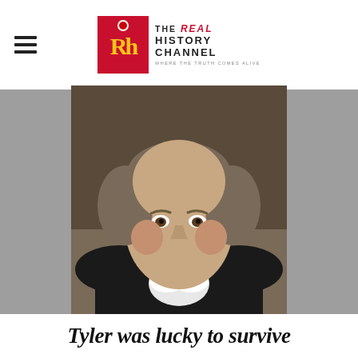THE REAL HISTORY CHANNEL — WHERE THE TRUTH COMES ALIVE
[Figure (photo): Portrait painting of John Tyler, 10th President of the United States, wearing a dark jacket and white bow tie, with gray-brown hair, set against a gray background]
Tyler was lucky to survive